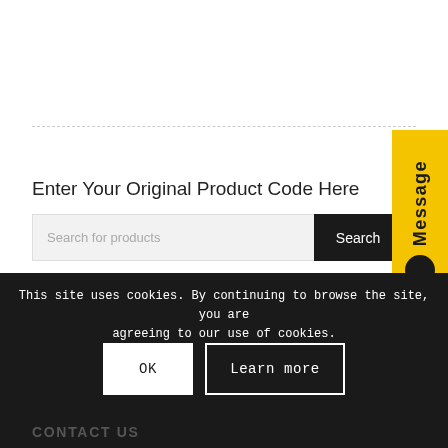Enter Your Original Product Code Here
Search for products
[Figure (other): Yellow vertical 'Message' tab with chat bubble icon on the right side]
This site uses cookies. By continuing to browse the site, you are agreeing to our use of cookies.
OK
Learn more
CONTACT US